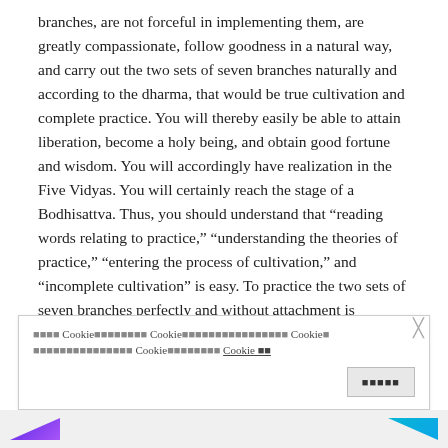branches, are not forceful in implementing them, are greatly compassionate, follow goodness in a natural way, and carry out the two sets of seven branches naturally and according to the dharma, that would be true cultivation and complete practice. You will thereby easily be able to attain liberation, become a holy being, and obtain good fortune and wisdom. You will accordingly have realization in the Five Vidyas. You will certainly reach the stage of a Bodhisattva. Thus, you should understand that “reading words relating to practice,” “understanding the theories of practice,” “entering the process of cultivation,” and “incomplete cultivation” is easy. To practice the two sets of seven branches perfectly and without attachment is difficult. Actually, when you let go of
Cookie Cookie Cookie Cookie Cookie Cookie